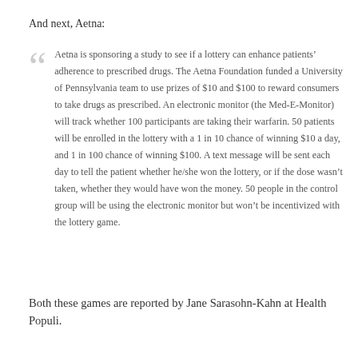And next, Aetna:
Aetna is sponsoring a study to see if a lottery can enhance patients’ adherence to prescribed drugs. The Aetna Foundation funded a University of Pennsylvania team to use prizes of $10 and $100 to reward consumers to take drugs as prescribed. An electronic monitor (the Med-E-Monitor) will track whether 100 participants are taking their warfarin. 50 patients will be enrolled in the lottery with a 1 in 10 chance of winning $10 a day, and 1 in 100 chance of winning $100. A text message will be sent each day to tell the patient whether he/she won the lottery, or if the dose wasn’t taken, whether they would have won the money. 50 people in the control group will be using the electronic monitor but won’t be incentivized with the lottery game.
Both these games are reported by Jane Sarasohn-Kahn at Health Populi.
Posted in: Innovation, Medicare & Reimbursement
Leave a Comment (0) →